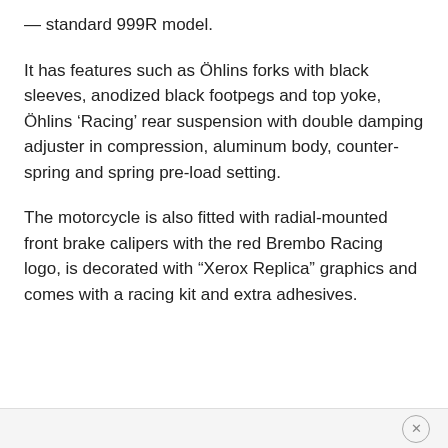standard 999R model.
It has features such as Öhlins forks with black sleeves, anodized black footpegs and top yoke, Öhlins ‘Racing’ rear suspension with double damping adjuster in compression, aluminum body, counter-spring and spring pre-load setting.
The motorcycle is also fitted with radial-mounted front brake calipers with the red Brembo Racing logo, is decorated with “Xerox Replica” graphics and comes with a racing kit and extra adhesives.
×